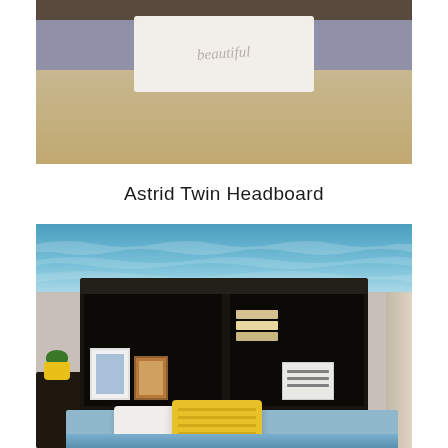[Figure (photo): Top portion of a bedroom scene showing a bed with a gray/purple headboard, white decorative pillow with cursive text reading 'beautiful', yellow/cream bedding, against a blue-gray wall.]
Astrid Twin Headboard
[Figure (photo): A black bookcase-style twin headboard with two open storage compartments containing picture frames and a white storage box with books. The bed has blue patterned bedding with a white pillow and yellow textured throw pillow. A yellow plant pot with green plant sits on a dark nightstand to the left. Ocean-themed wallpaper/mural visible in the background.]